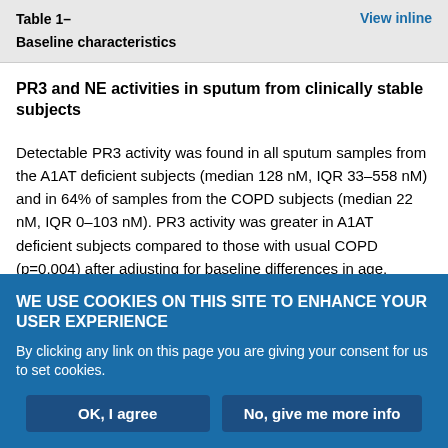Table 1–
Baseline characteristics
PR3 and NE activities in sputum from clinically stable subjects
Detectable PR3 activity was found in all sputum samples from the A1AT deficient subjects (median 128 nM, IQR 33–558 nM) and in 64% of samples from the COPD subjects (median 22 nM, IQR 0–103 nM). PR3 activity was greater in A1AT deficient subjects compared to those with usual COPD (p=0.004) after adjusting for baseline differences in age, smoking history (pack-years), FEV1 (% pred) and Kco (% pred). Unbound PR3 concentration measured by ELISA
WE USE COOKIES ON THIS SITE TO ENHANCE YOUR USER EXPERIENCE
By clicking any link on this page you are giving your consent for us to set cookies.